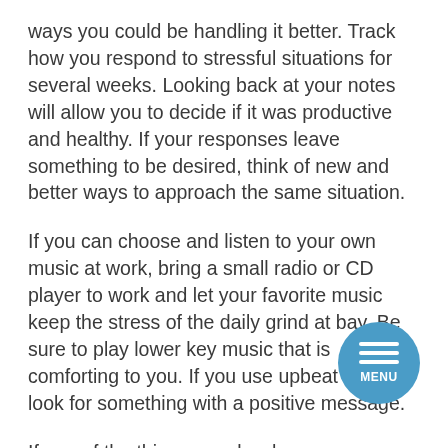ways you could be handling it better. Track how you respond to stressful situations for several weeks. Looking back at your notes will allow you to decide if it was productive and healthy. If your responses leave something to be desired, think of new and better ways to approach the same situation.
If you can choose and listen to your own music at work, bring a small radio or CD player to work and let your favorite music keep the stress of the daily grind at bay. Be sure to play lower key music that is comforting to you. If you use upbeat music, look for something with a positive message.
If one of the things you do when your stressed out is practice unhealthy ways of eating, try substituting them with something actually good for you. For example, if you typically overeat when you feel stressed out, why not just take a walk around the
[Figure (other): A circular blue menu button with three horizontal white lines (hamburger icon) and the word MENU below them.]